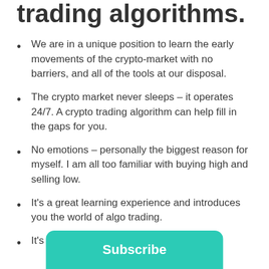trading algorithms.
We are in a unique position to learn the early movements of the crypto-market with no barriers, and all of the tools at our disposal.
The crypto market never sleeps – it operates 24/7. A crypto trading algorithm can help fill in the gaps for you.
No emotions – personally the biggest reason for myself. I am all too familiar with buying high and selling low.
It's a great learning experience and introduces you the world of algo trading.
It's cool
Subscribe